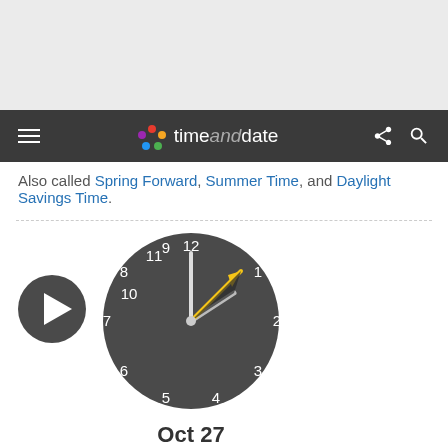[Figure (screenshot): Gray top banner area (advertisement placeholder)]
timeanddate — navigation bar with menu, logo, share and search icons
Also called Spring Forward, Summer Time, and Daylight Savings Time.
[Figure (illustration): Analog clock showing hands at 12 and 2 with a yellow arrow indicating the clock moving back, and a play button to the left]
Oct 27
Back 1 hour
Oct 27, 1996 - Daylight Saving Time Ended